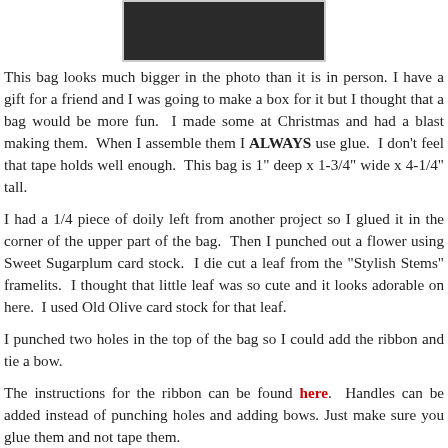[Figure (photo): Partial photo of a small gift bag, dark background, shown cropped at top of page]
This bag looks much bigger in the photo than it is in person. I have a gift for a friend and I was going to make a box for it but I thought that a bag would be more fun. I made some at Christmas and had a blast making them. When I assemble them I ALWAYS use glue. I don't feel that tape holds well enough. This bag is 1" deep x 1-3/4" wide x 4-1/4" tall.
I had a 1/4 piece of doily left from another project so I glued it in the corner of the upper part of the bag. Then I punched out a flower using Sweet Sugarplum card stock. I die cut a leaf from the "Stylish Stems" framelits. I thought that little leaf was so cute and it looks adorable on here. I used Old Olive card stock for that leaf.
I punched two holes in the top of the bag so I could add the ribbon and tie a bow.
The instructions for the ribbon can be found here. Handles can be added instead of punching holes and adding bows. Just make sure you glue them and not tape them.